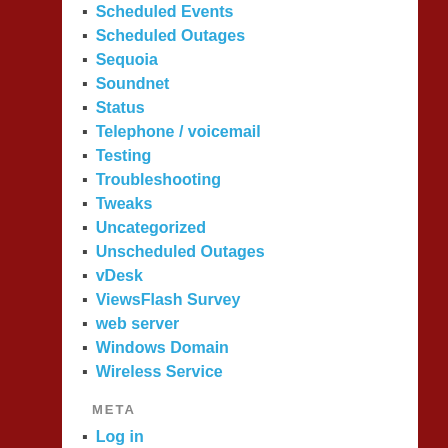Scheduled Events
Scheduled Outages
Sequoia
Soundnet
Status
Telephone / voicemail
Testing
Troubleshooting
Tweaks
Uncategorized
Unscheduled Outages
vDesk
ViewsFlash Survey
web server
Windows Domain
Wireless Service
META
Log in
Entries feed
Comments feed